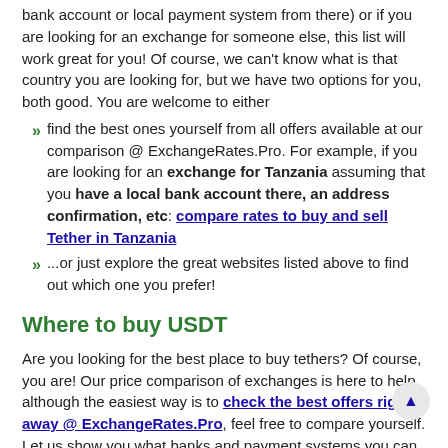bank account or local payment system from there) or if you are looking for an exchange for someone else, this list will work great for you! Of course, we can't know what is that country you are looking for, but we have two options for you, both good. You are welcome to either
find the best ones yourself from all offers available at our comparison @ ExchangeRates.Pro. For example, if you are looking for an exchange for Tanzania assuming that you have a local bank account there, an address confirmation, etc: compare rates to buy and sell Tether in Tanzania
...or just explore the great websites listed above to find out which one you prefer!
Where to buy USDT
Are you looking for the best place to buy tethers? Of course, you are! Our price comparison of exchanges is here to help, although the easiest way is to check the best offers right away @ ExchangeRates.Pro, feel free to compare yourself. Let us show you what banks and payment systems you can use to buy and sell USDT, based on your location and preferences.
Where can you buy USDT in Kenya
At this moment, there are 11 offers to buy Tether in Kenya. Our software is collecting the statistics about the popularity of specific local banks and payment systems. Usually the top...